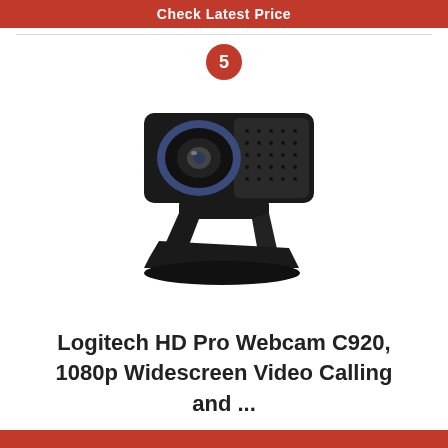Check Latest Price
[Figure (photo): A Logitech HD Pro Webcam C920 product photo showing the black webcam with blue accent ring around the lens, mounted on its adjustable clip/stand, viewed from a slight angle.]
Logitech HD Pro Webcam C920, 1080p Widescreen Video Calling and ...